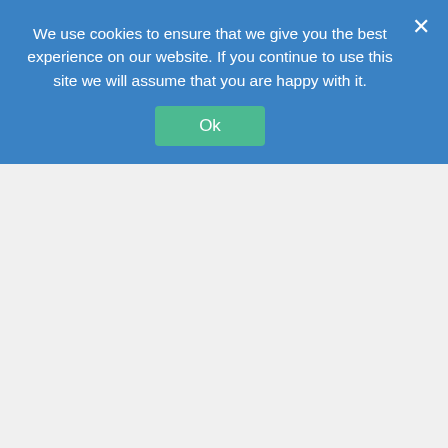We use cookies to ensure that we give you the best experience on our website. If you continue to use this site we will assume that you are happy with it.
Ok
[Figure (photo): A plate of penne pasta with kale and tuna, served on a white plate, viewed from above at an angle.]
Besides world peace etc. what we also need is a simple tuna pasta recipe just to make life easier right?
Learned about this pasta when I came to the UK in 2010 from a roommate then. It's such a simple